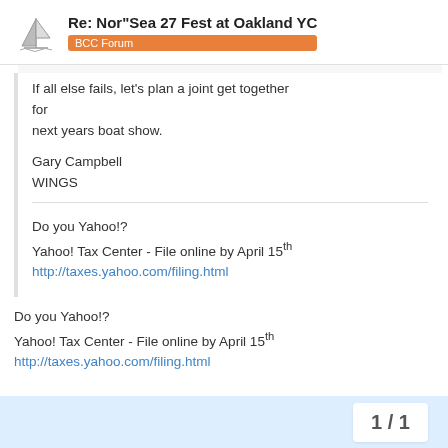Re: Nor"Sea 27 Fest at Oakland YC — BCC Forum
If all else fails, let's plan a joint get together for
next years boat show.

Gary Campbell
WINGS
Do you Yahoo!?
Yahoo! Tax Center - File online by April 15th
http://taxes.yahoo.com/filing.html
Do you Yahoo!?
Yahoo! Tax Center - File online by April 15th
http://taxes.yahoo.com/filing.html
1 / 1